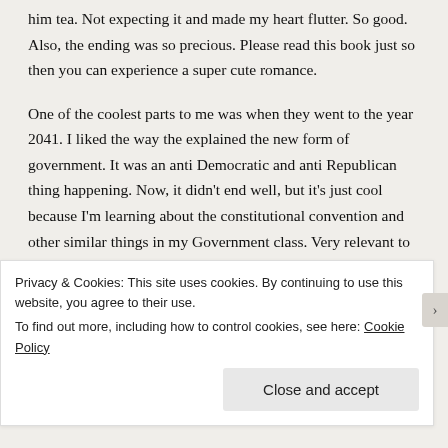him tea. Not expecting it and made my heart flutter. So good. Also, the ending was so precious. Please read this book just so then you can experience a super cute romance.
One of the coolest parts to me was when they went to the year 2041. I liked the way the explained the new form of government. It was an anti Democratic and anti Republican thing happening. Now, it didn't end well, but it's just cool because I'm learning about the constitutional convention and other similar things in my Government class. Very relevant to my life at the moment. There were also a lot of mentions to Iowa in this book. It's always strange to me
Privacy & Cookies: This site uses cookies. By continuing to use this website, you agree to their use.
To find out more, including how to control cookies, see here: Cookie Policy